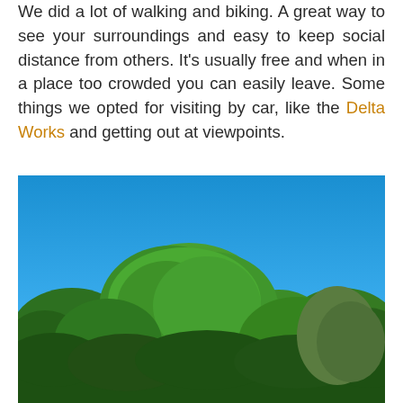We did a lot of walking and biking. A great way to see your surroundings and easy to keep social distance from others. It's usually free and when in a place too crowded you can easily leave. Some things we opted for visiting by car, like the Delta Works and getting out at viewpoints.
[Figure (photo): Outdoor photograph of large green deciduous trees with full summer foliage against a bright blue sky. The trees dominate the middle and lower portions of the image, with the clear blue sky filling the upper half.]